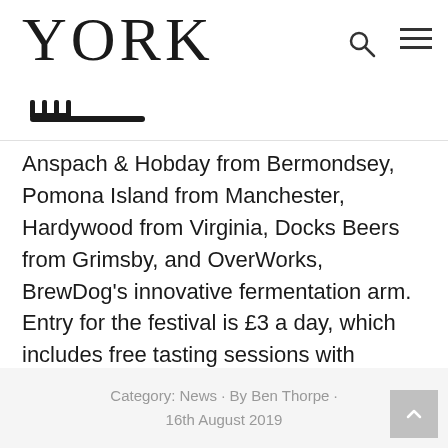YORK
Anspach & Hobday from Bermondsey, Pomona Island from Manchester, Hardywood from Virginia, Docks Beers from Grimsby, and OverWorks, BrewDog's innovative fermentation arm. Entry for the festival is £3 a day, which includes free tasting sessions with brewers from each brewery as well as food and beer pairing sessions run by Brew York.
Category: News · By Ben Thorpe · 16th August 2019